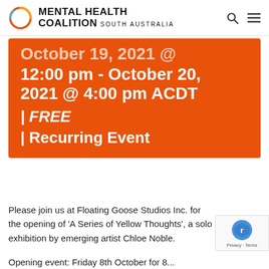MENTAL HEALTH COALITION SOUTH AUSTRALIA
[Figure (infographic): Orange event banner showing date: October 19, 2021 @ 12:00 pm - October 20, 2021 @ 4:00 pm ACDT | FREE | Recurring Event]
Please join us at Floating Goose Studios Inc. for the opening of ‘A Series of Yellow Thoughts’, a solo exhibition by emerging artist Chloe Noble.
Opening event: Friday 8th October for 8...